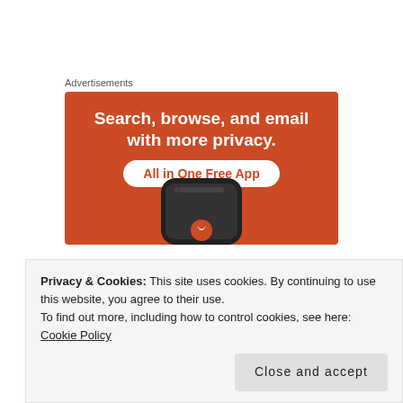Advertisements
[Figure (screenshot): Advertisement banner with orange background showing text 'Search, browse, and email with more privacy. All in One Free App' with a phone image at the bottom.]
While your cake is cooking and cooling, you can work on
Privacy & Cookies: This site uses cookies. By continuing to use this website, you agree to their use. To find out more, including how to control cookies, see here: Cookie Policy
Close and accept